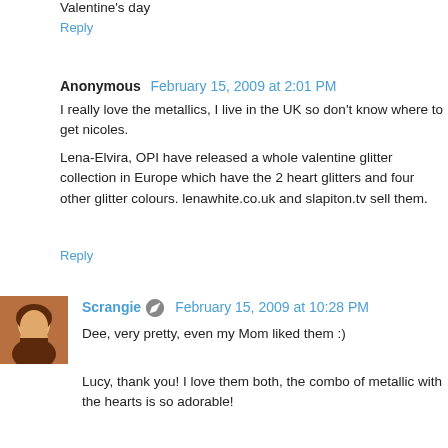Valentine's day
Reply
Anonymous  February 15, 2009 at 2:01 PM
I really love the metallics, I live in the UK so don't know where to get nicoles.
Lena-Elvira, OPI have released a whole valentine glitter collection in Europe which have the 2 heart glitters and four other glitter colours. lenawhite.co.uk and slapiton.tv sell them.
Reply
Scrangie  February 15, 2009 at 10:28 PM
Dee, very pretty, even my Mom liked them :)
Lucy, thank you! I love them both, the combo of metallic with the hearts is so adorable!